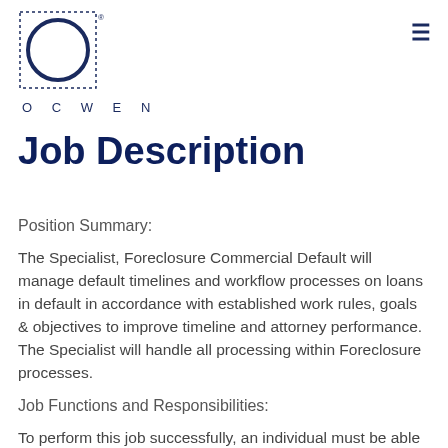[Figure (logo): Ocwen logo: dotted-border square with dark blue circle inside, text OCWEN below in spaced caps]
Job Description
Position Summary:
The Specialist, Foreclosure Commercial Default will manage default timelines and workflow processes on loans in default in accordance with established work rules, goals & objectives to improve timeline and attorney performance. The Specialist will handle all processing within Foreclosure processes.
Job Functions and Responsibilities:
To perform this job successfully, an individual must be able to perform each essential duty satisfactorily. Examples